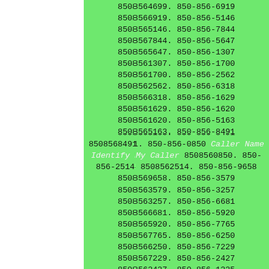8508564699. 850-856-6919 8508566919. 850-856-5146 8508565146. 850-856-7844 8508567844. 850-856-5647 8508565647. 850-856-1307 8508561307. 850-856-1700 8508561700. 850-856-2562 8508562562. 850-856-6318 8508566318. 850-856-1629 8508561629. 850-856-1620 8508561620. 850-856-5163 8508565163. 850-856-8491 8508568491. 850-856-0850 Caller Name Identify My Caller 8508560850. 850-856-2514 8508562514. 850-856-9658 8508569658. 850-856-3579 8508563579. 850-856-3257 8508563257. 850-856-6681 8508566681. 850-856-5920 8508565920. 850-856-7765 8508567765. 850-856-6250 8508566250. 850-856-7229 8508567229. 850-856-2427 8508562427. 850-856-1225 8508561225. 850-856-2074